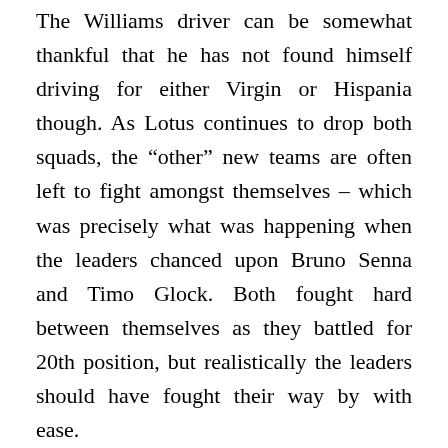The Williams driver can be somewhat thankful that he has not found himself driving for either Virgin or Hispania though. As Lotus continues to drop both squads, the “other” new teams are often left to fight amongst themselves – which was precisely what was happening when the leaders chanced upon Bruno Senna and Timo Glock. Both fought hard between themselves as they battled for 20th position, but realistically the leaders should have fought their way by with ease. Not so this time around – Vettel would lose a three second chunk getting around the rearward pair, but more alarmingly, Glock chopped across the front of Hamilton as the McLaren driver set about poaching the Virgin. As the Virgin and Hispania battled, Hamilton could feel the time ebb away as Vettel pulled out another small gap – the Briton would eventually force a way through